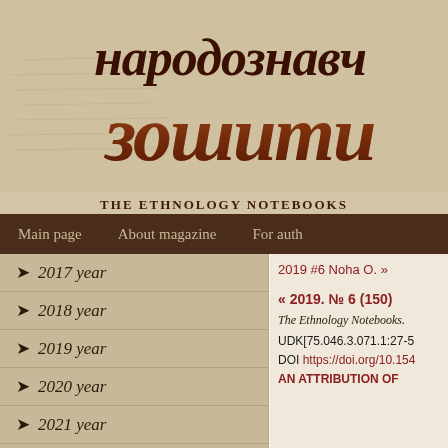[Figure (logo): Народознавчі зошити - The Ethnology Notebooks journal header with Cyrillic title in large bold dark brown/red serif font on parchment background]
THE ETHNOLOGY NOTEBOOKS
Main page   About magazine   For auth...
→ 2017 year
→ 2018 year
→ 2019 year
→ 2020 year
→ 2021 year
→ 2022 year
2019 #6 Noha O. »
« 2019. № 6 (150)
The Ethnology Notebooks.
UDK[75.046.3.071.1:27-5
DOI https://doi.org/10.154
AN ATTRIBUTION OF